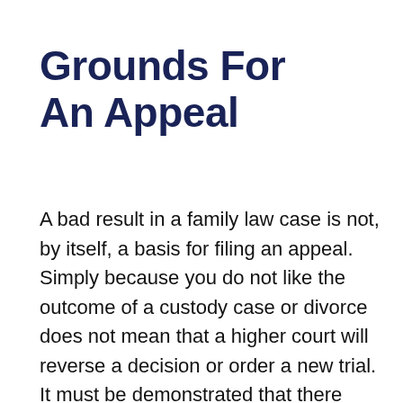Grounds For An Appeal
A bad result in a family law case is not, by itself, a basis for filing an appeal. Simply because you do not like the outcome of a custody case or divorce does not mean that a higher court will reverse a decision or order a new trial. It must be demonstrated that there were fatal flaws in the court process that prevented a fair trial, including misapplication of the law, procedural errors or testimony that is improperly allowed. Judges are human, and they make mistakes